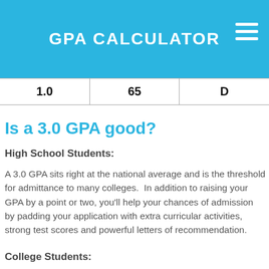GPA CALCULATOR
| 1.0 | 65 | D |
| --- | --- | --- |
Is a 3.0 GPA good?
High School Students:
A 3.0 GPA sits right at the national average and is the threshold for admittance to many colleges.  In addition to raising your GPA by a point or two, you'll help your chances of admission by padding your application with extra curricular activities, strong test scores and powerful letters of recommendation.
College Students: